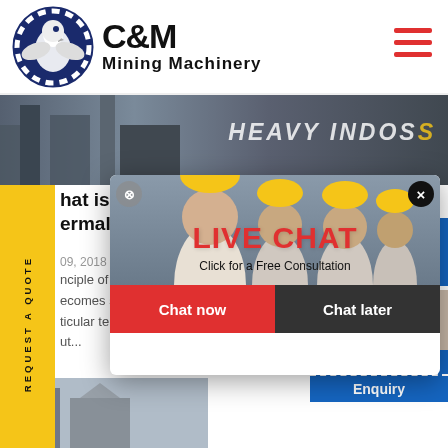[Figure (logo): C&M Mining Machinery logo with eagle in gear circle and company name]
[Figure (photo): Industrial/mining facility banner background with 'HEAVY INDUS...' text]
hat is the working principle of ermal
09, 2018
nciple of ...de into steam. 2. The steam k...ecomes superheated. (A steam ...ticular temperature at a partic...ut...
[Figure (screenshot): Live chat widget popup with construction workers photo, LIVE CHAT label, Click for a Free Consultation, Chat now and Chat later buttons]
[Figure (photo): Female customer service advisor with headset on right panel]
Click to Chat
Enquiry